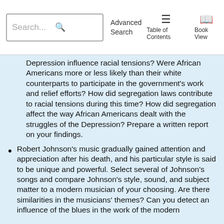Search... Advanced Search | Table of Contents | Book View
Depression influence racial tensions? Were African Americans more or less likely than their white counterparts to participate in the government's work and relief efforts? How did segregation laws contribute to racial tensions during this time? How did segregation affect the way African Americans dealt with the struggles of the Depression? Prepare a written report on your findings.
Robert Johnson's music gradually gained attention and appreciation after his death, and his particular style is said to be unique and powerful. Select several of Johnson's songs and compare Johnson's style, sound, and subject matter to a modern musician of your choosing. Are there similarities in the musicians' themes? Can you detect an influence of the blues in the work of the modern